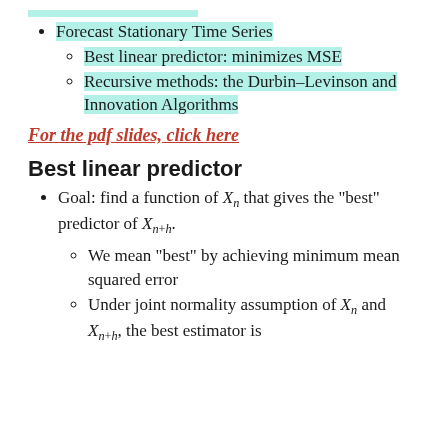Forecast Stationary Time Series
Best linear predictor: minimizes MSE
Recursive methods: the Durbin-Levinson and Innovation Algorithms
For the pdf slides, click here
Best linear predictor
Goal: find a function of X_n that gives the "best" predictor of X_{n+h}.
We mean "best" by achieving minimum mean squared error
Under joint normality assumption of X_n and X_{n+h}, the best estimator is